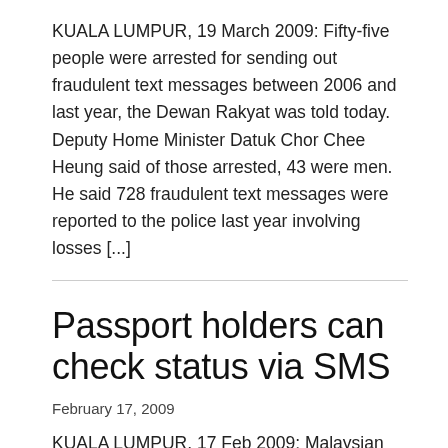KUALA LUMPUR, 19 March 2009: Fifty-five people were arrested for sending out fraudulent text messages between 2006 and last year, the Dewan Rakyat was told today. Deputy Home Minister Datuk Chor Chee Heung said of those arrested, 43 were men. He said 728 fraudulent text messages were reported to the police last year involving losses [...]
Passport holders can check status via SMS
February 17, 2009
KUALA LUMPUR, 17 Feb 2009: Malaysian passport